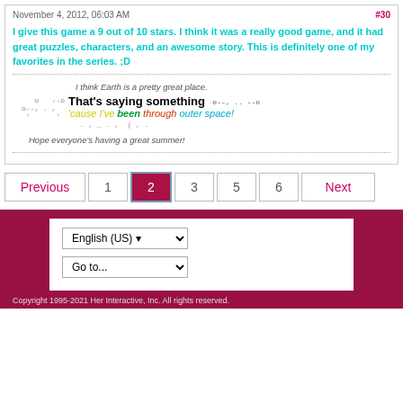November 4, 2012, 06:03 AM  #30
I give this game a 9 out of 10 stars. I think it was a really good game, and it had great puzzles, characters, and an awesome story. This is definitely one of my favorites in the series. ;D
[Figure (illustration): Forum signature image with dotted cloud shapes and colorful text reading: I think Earth is a pretty great place. That's saying something 'cause I've been through outer space!]
Hope everyone's having a great summer!
Previous  1  2  3  5  6  Next
Copyright 1995-2021 Her Interactive, Inc. All rights reserved.